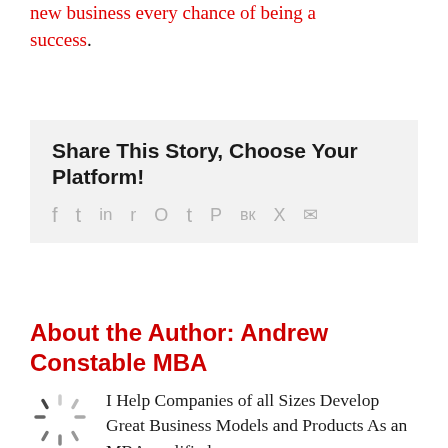new business every chance of being a success.
Share This Story, Choose Your Platform!
Social share icons: facebook, twitter, linkedin, reddit, whatsapp, tumblr, pinterest, vk, xing, email
About the Author: Andrew Constable MBA
I Help Companies of all Sizes Develop Great Business Models and Products As an MBA qualified